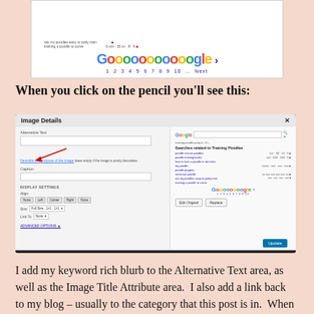[Figure (screenshot): Screenshot showing bottom of a Google search results page with pagination (Goooooooooooogle) and navigation arrows]
When you click on the pencil you'll see this:
[Figure (screenshot): WordPress Image Details dialog showing Alternative Text field with red arrow pointing to it, caption field, display settings with alignment buttons (None, Left, Center, Right, None), size selector, link field, Advanced Options, and a preview of Google search results on the right side with Edit Original and Replace buttons, and an Update button in the lower right.]
I add my keyword rich blurb to the Alternative Text area, as well as the Image Title Attribute area.  I also add a link back to my blog – usually to the category that this post is in.  When people